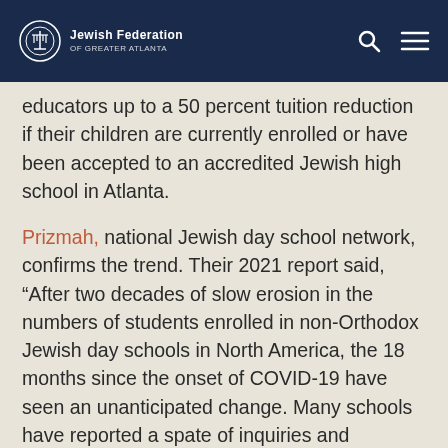Jewish Federation of Greater Atlanta
educators up to a 50 percent tuition reduction if their children are currently enrolled or have been accepted to an accredited Jewish high school in Atlanta.
Prizmah, national Jewish day school network, confirms the trend. Their 2021 report said, “After two decades of slow erosion in the numbers of students enrolled in non-Orthodox Jewish day schools in North America, the 18 months since the onset of COVID-19 have seen an unanticipated change. Many schools have reported a spate of inquiries and enrollments among children transferring